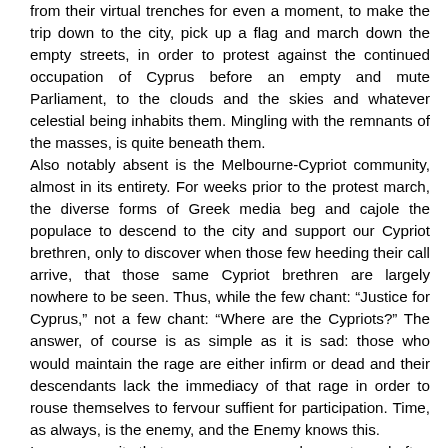from their virtual trenches for even a moment, to make the trip down to the city, pick up a flag and march down the empty streets, in order to protest against the continued occupation of Cyprus before an empty and mute Parliament, to the clouds and the skies and whatever celestial being inhabits them. Mingling with the remnants of the masses, is quite beneath them. Also notably absent is the Melbourne-Cypriot community, almost in its entirety. For weeks prior to the protest march, the diverse forms of Greek media beg and cajole the populace to descend to the city and support our Cypriot brethren, only to discover when those few heeding their call arrive, that those same Cypriot brethren are largely nowhere to be seen. Thus, while the few chant: “Justice for Cyprus,” not a few chant: “Where are the Cypriots?” The answer, of course is as simple as it is sad: those who would maintain the rage are either infirm or dead and their descendants lack the immediacy of that rage in order to rouse themselves to fervour suffient for participation. Time, as always, is the enemy, and the Enemy knows this. In a community that measures success by empty and often quixotic gestures than by substantive results, the indifference